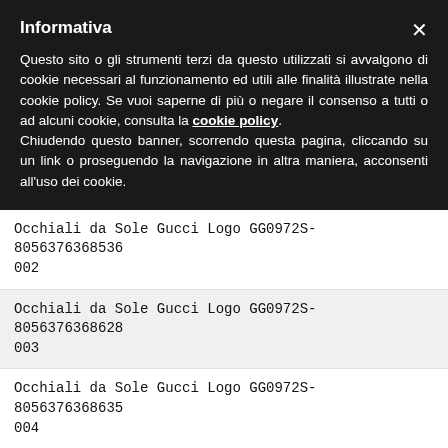Informativa
Questo sito o gli strumenti terzi da questo utilizzati si avvalgono di cookie necessari al funzionamento ed utili alle finalità illustrate nella cookie policy. Se vuoi saperne di più o negare il consenso a tutti o ad alcuni cookie, consulta la cookie policy. Chiudendo questo banner, scorrendo questa pagina, cliccando su un link o proseguendo la navigazione in altra maniera, acconsenti all'uso dei cookie.
Occhiali da Sole Gucci Logo GG0972S- 8056376368536 002
Occhiali da Sole Gucci Logo GG0972S- 8056376368628 003
Occhiali da Sole Gucci Logo GG0972S- 8056376368635 004
Occhiali da Sole Gucci Seasonal Icon 8056376367386 GG0974S-001